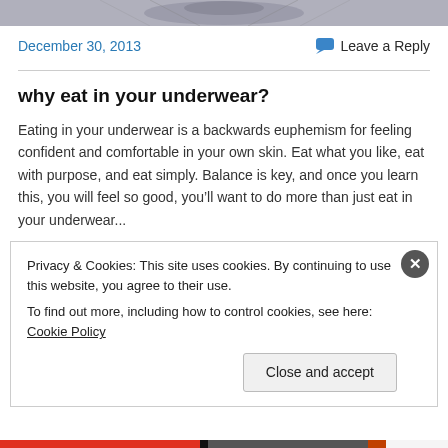[Figure (photo): Partial photo strip at top of page showing a tattoo or decorative artwork, cropped]
December 30, 2013
Leave a Reply
why eat in your underwear?
Eating in your underwear is a backwards euphemism for feeling confident and comfortable in your own skin. Eat what you like, eat with purpose, and eat simply. Balance is key, and once you learn this, you will feel so good, you’ll want to do more than just eat in your underwear...
Privacy & Cookies: This site uses cookies. By continuing to use this website, you agree to their use.
To find out more, including how to control cookies, see here: Cookie Policy